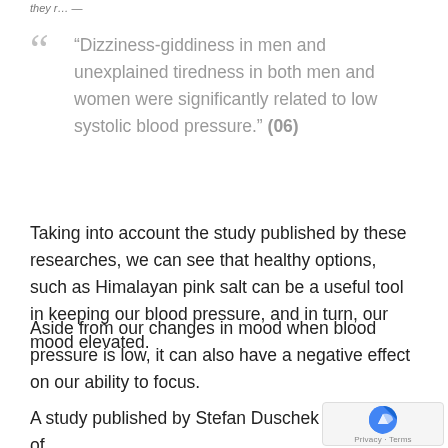they r… —
“Dizziness-giddiness in men and unexplained tiredness in both men and women were significantly related to low systolic blood pressure.” (06)
Taking into account the study published by these researches, we can see that healthy options, such as Himalayan pink salt can be a useful tool in keeping our blood pressure, and in turn, our mood elevated.
Aside from our changes in mood when blood pressure is low, it can also have a negative effect on our ability to focus.
A study published by Stefan Duschek at the Dept. of